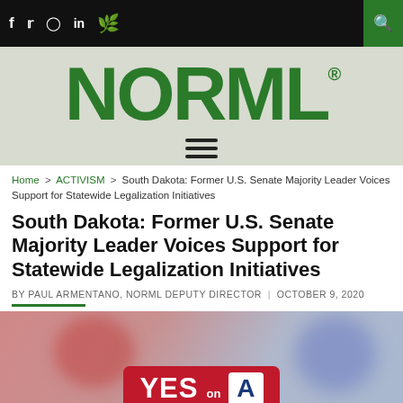f  Twitter  Instagram  in  [cannabis icon]  [search]
[Figure (logo): NORML logo in green bold text on light gray/green background with hamburger menu icon below]
Home > ACTIVISM > South Dakota: Former U.S. Senate Majority Leader Voices Support for Statewide Legalization Initiatives
South Dakota: Former U.S. Senate Majority Leader Voices Support for Statewide Legalization Initiatives
BY PAUL ARMENTANO, NORML DEPUTY DIRECTOR | OCTOBER 9, 2020
[Figure (photo): Campaign image showing YES on A sign with red background and blue letter A on white badge, with blurred red and blue background elements]